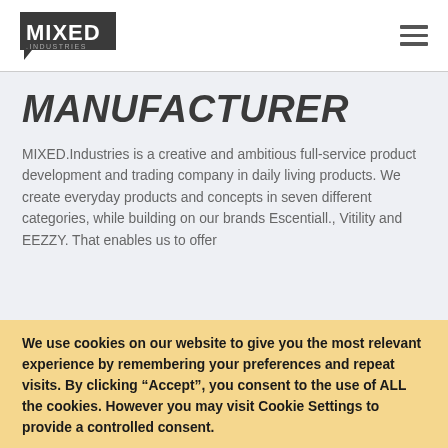MIXED INDUSTRIES
MANUFACTURER
MIXED.Industries is a creative and ambitious full-service product development and trading company in daily living products. We create everyday products and concepts in seven different categories, while building on our brands Escentiall., Vitility and EEZZY. That enables us to offer
We use cookies on our website to give you the most relevant experience by remembering your preferences and repeat visits. By clicking “Accept”, you consent to the use of ALL the cookies. However you may visit Cookie Settings to provide a controlled consent.
Cookie settings  ACCEPT